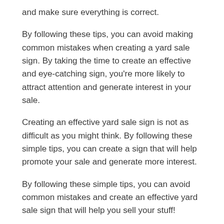and make sure everything is correct.
By following these tips, you can avoid making common mistakes when creating a yard sale sign. By taking the time to create an effective and eye-catching sign, you're more likely to attract attention and generate interest in your sale.
Creating an effective yard sale sign is not as difficult as you might think. By following these simple tips, you can create a sign that will help promote your sale and generate more interest.
By following these simple tips, you can avoid common mistakes and create an effective yard sale sign that will help you sell your stuff!
Conclusion: